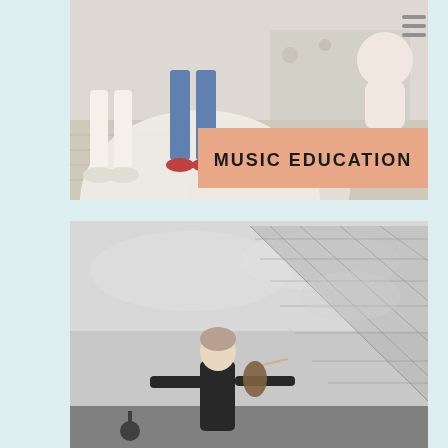[Figure (photo): A color photograph showing people standing on a light wooden floor. Visible are children's legs and shoes in white, and what appears to be a white wedding or formal dress, along with a baby. A hamburger menu icon is visible in the top right of the image.]
MUSIC EDUCATION
[Figure (photo): A black-and-white photograph showing a woman playing violin in front of a large glass pyramid structure (resembling the Louvre Pyramid), taken from a low angle looking upward.]